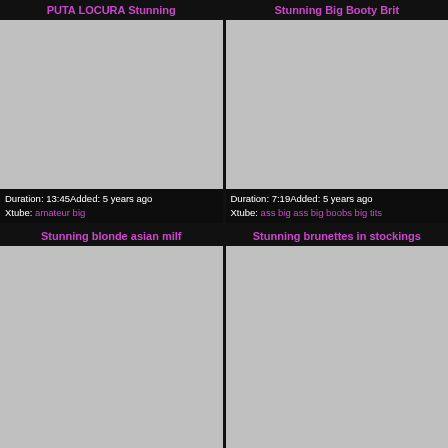PUTA LOCURA Stunning
[Figure (photo): Video thumbnail placeholder, gray rectangle]
Duration: 13:45Added: 5 years ago
Xtube: amateur big
Stunning Big Booty Brit
[Figure (photo): Video thumbnail placeholder, gray rectangle]
Duration: 7:19Added: 5 years ago
Xtube: ass big ass big boobs big tits
Stunning blonde asian milf
[Figure (photo): Video thumbnail placeholder, gray rectangle]
Stunning brunettes in stockings
[Figure (photo): Video thumbnail placeholder, gray rectangle]